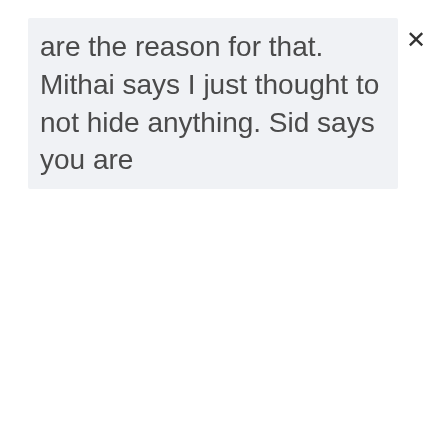are the reason for that. Mithai says I just thought to not hide anything. Sid says you are